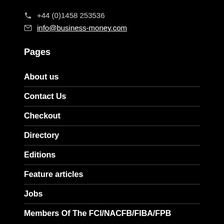+44 (0)1458 253536
info@business-money.com
Pages
About us
Contact Us
Checkout
Directory
Editions
Feature articles
Jobs
Members Of The FCI/NACFB/FIBA/FPB